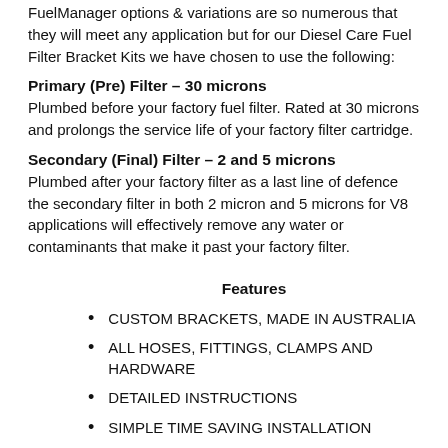FuelManager options & variations are so numerous that they will meet any application but for our Diesel Care Fuel Filter Bracket Kits we have chosen to use the following:
Primary (Pre) Filter – 30 microns
Plumbed before your factory fuel filter. Rated at 30 microns and prolongs the service life of your factory filter cartridge.
Secondary (Final) Filter – 2 and 5 microns
Plumbed after your factory filter as a last line of defence the secondary filter in both 2 micron and 5 microns for V8 applications will effectively remove any water or contaminants that make it past your factory filter.
Features
CUSTOM BRACKETS, MADE IN AUSTRALIA
ALL HOSES, FITTINGS, CLAMPS AND HARDWARE
DETAILED INSTRUCTIONS
SIMPLE TIME SAVING INSTALLATION
VALUE FOR MONEY